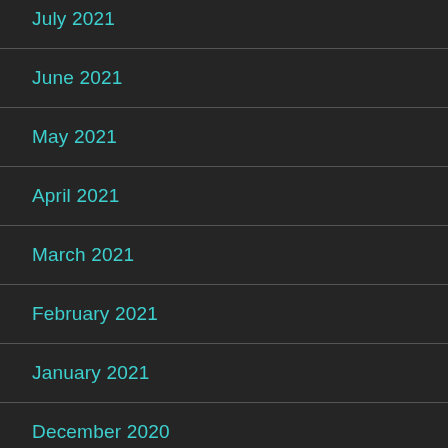July 2021
June 2021
May 2021
April 2021
March 2021
February 2021
January 2021
December 2020
November 2020